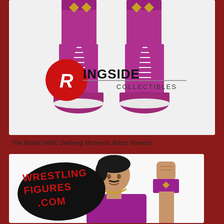[Figure (photo): Close-up photo of Mattel WWE Razor Ramon action figure's purple boots with white laces, with Ringside Collectibles logo overlay]
The Mattel WWE Defining Moments Razor Ramon!
[Figure (photo): Photo of Mattel WWE Razor Ramon action figure showing head and raised fist with purple wristband, WrestlingFigures.com logo overlay]